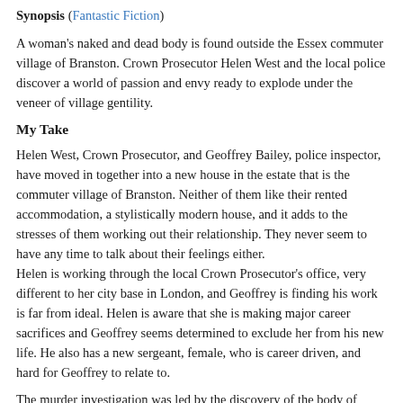Synopsis (Fantastic Fiction)
A woman's naked and dead body is found outside the Essex commuter village of Branston. Crown Prosecutor Helen West and the local police discover a world of passion and envy ready to explode under the veneer of village gentility.
My Take
Helen West, Crown Prosecutor, and Geoffrey Bailey, police inspector, have moved in together into a new house in the estate that is the commuter village of Branston. Neither of them like their rented accommodation, a stylistically modern house, and it adds to the stresses of them working out their relationship. They never seem to have any time to talk about their feelings either.
Helen is working through the local Crown Prosecutor's office, very different to her city base in London, and Geoffrey is finding his work is far from ideal. Helen is aware that she is making major career sacrifices and Geoffrey seems determined to exclude her from his new life. He also has a new sergeant, female, who is career driven, and hard for Geoffrey to relate to.
The murder investigation was led by the discovery of the body of...